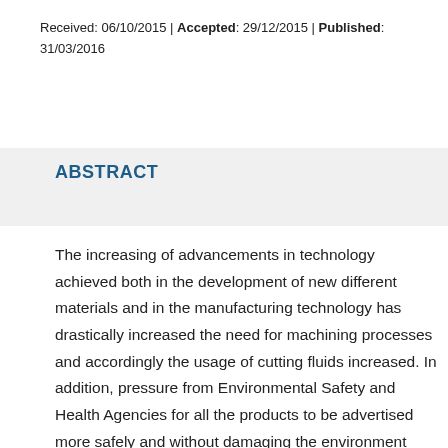Received: 06/10/2015 | Accepted: 29/12/2015 | Published: 31/03/2016
ABSTRACT
The increasing of advancements in technology achieved both in the development of new different materials and in the manufacturing technology has drastically increased the need for machining processes and accordingly the usage of cutting fluids increased. In addition, pressure from Environmental Safety and Health Agencies for all the products to be advertised more safely and without damaging the environment